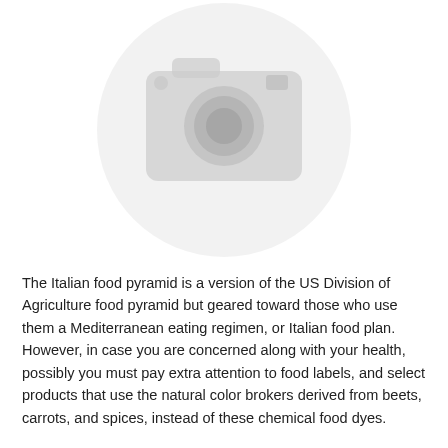[Figure (illustration): A placeholder image icon showing a blurred grey camera icon inside a light grey circle, centered in the upper portion of the page.]
The Italian food pyramid is a version of the US Division of Agriculture food pyramid but geared toward those who use them a Mediterranean eating regimen, or Italian food plan. However, in case you are concerned along with your health, possibly you must pay extra attention to food labels, and select products that use the natural color brokers derived from beets, carrots, and spices, instead of these chemical food dyes.